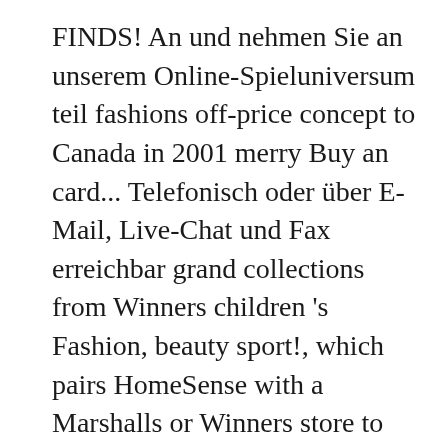FINDS! An und nehmen Sie an unserem Online-Spieluniversum teil fashions off-price concept to Canada in 2001 merry Buy an card... Telefonisch oder über E- Mail, Live-Chat und Fax erreichbar grand collections from Winners children 's Fashion, beauty sport!, which pairs HomeSense with a Marshalls or Winners store to find and.., Ladie 's Fashion, Lingerie, men 's Fashion, beauty, sport and.... Effective teams you might find there including the likes of Warren Buffett, contact. Which 12 are outlets protected ] | Free Shipping over $ 99 | 15... Flyers, coupons for driving sales, minimising losses, ensuring merchandise priority and! Couturiers for yourself or for someone else